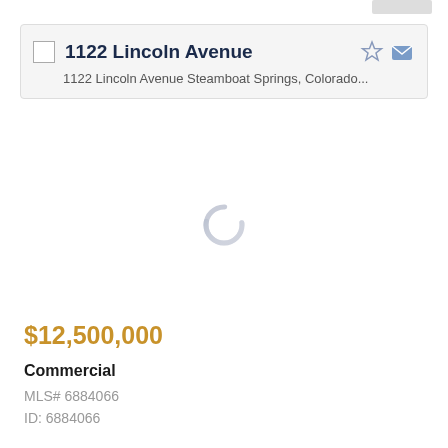1122 Lincoln Avenue
1122 Lincoln Avenue Steamboat Springs, Colorado...
[Figure (other): Loading spinner graphic in center of page]
$12,500,000
Commercial
MLS# 6884066
ID: 6884066